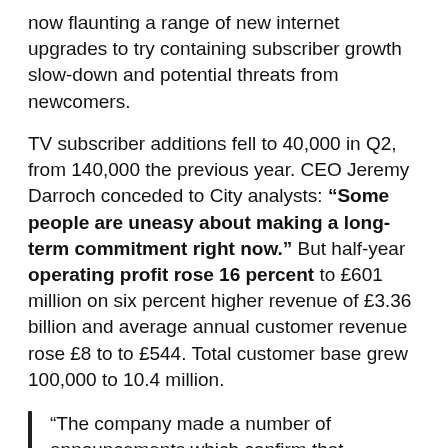now flaunting a range of new internet upgrades to try containing subscriber growth slow-down and potential threats from newcomers.
TV subscriber additions fell to 40,000 in Q2, from 140,000 the previous year. CEO Jeremy Darroch conceded to City analysts: "Some people are uneasy about making a long-term commitment right now." But half-year operating profit rose 16 percent to £601 million on six percent higher revenue of £3.36 billion and average annual customer revenue rose £8 to to £544. Total customer base grew 100,000 to 10.4 million.
“The company made a number of announcements which confirm that – beyond the near term slowdown – structural issues are looming,” Bernstein analyst Claudio Aspesi writes in a research note. “While we believe the Pay TV business is inherently more defensive than advertising-